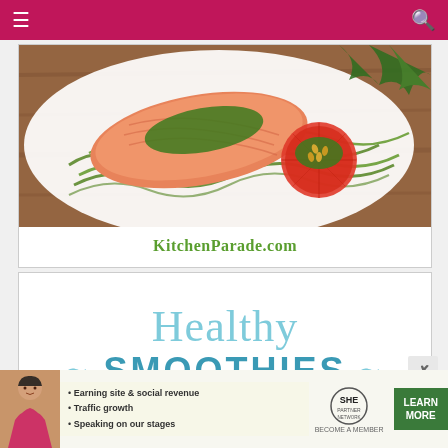Navigation header bar with menu (hamburger) and search icon
[Figure (photo): A white oval serving dish containing salmon fillet with green herb pesto, zucchini noodles, and roasted tomatoes topped with pine nuts and pesto, served on a wooden surface with greenery in background]
KitchenParade.com
[Figure (illustration): Partial card showing 'Healthy SMOOTHIES' text in light blue and teal colors]
[Figure (infographic): SHE Partner Network advertisement banner with a person photo, bullet points: Earning site & social revenue, Traffic growth, Speaking on our stages. SHE Partner Network logo, Become a Member text, and LEARN MORE green button]